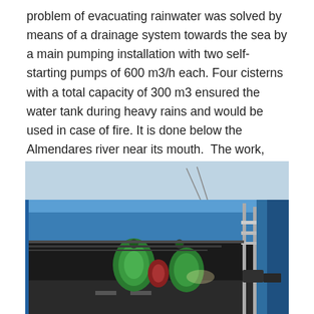problem of evacuating rainwater was solved by means of a drainage system towards the sea by a main pumping installation with two self-starting pumps of 600 m3/h each. Four cisterns with a total capacity of 300 m3 ensured the water tank during heavy rains and would be used in case of fire. It is done below the Almendares river near its mouth.  The work, inaugurated on June 12, 1959, was carried out by the construction company Societé des Grands Travaux de Marseille (France).
[Figure (photo): Photograph of a tunnel entrance showing blue overhead structure/ceiling with green cylindrical pipes visible inside, guard rails on the right side, and vehicles inside the tunnel.]